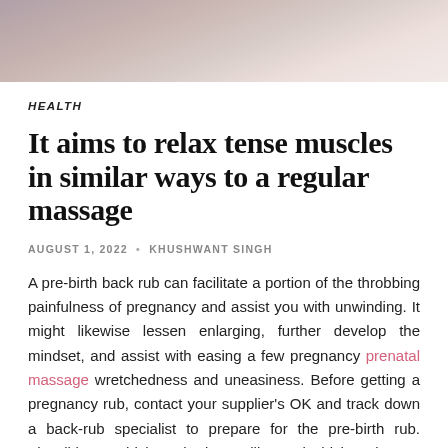[Figure (photo): Top banner showing a person receiving or giving a massage, partial view of body and hands, muted warm tones]
HEALTH
It aims to relax tense muscles in similar ways to a regular massage
AUGUST 1, 2022 • KHUSHWANT SINGH
A pre-birth back rub can facilitate a portion of the throbbing painfulness of pregnancy and assist you with unwinding. It might likewise lessen enlarging, further develop the mindset, and assist with easing a few pregnancy prenatal massage wretchedness and uneasiness. Before getting a pregnancy rub, contact your supplier's OK and track down a back-rub specialist to prepare for the pre-birth rub. They'll know which methods to utilize and which regions to keep